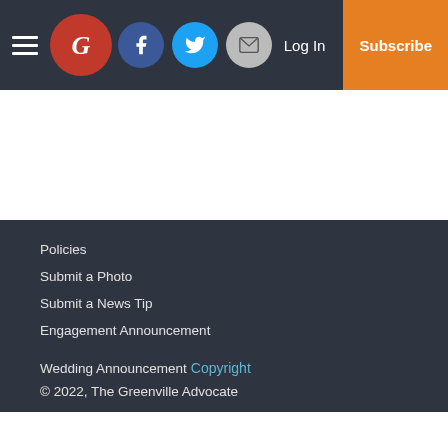The Greenville Advocate — Log In | Subscribe
Policies
Submit a Photo
Submit a News Tip
Engagement Announcement
Wedding Announcement
Copyright
© 2022, The Greenville Advocate